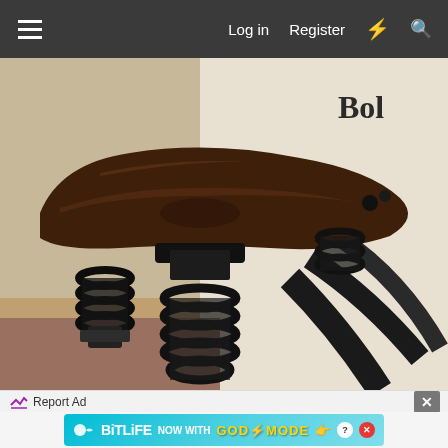≡  Log in  Register  ⚡  🔍
[Figure (photo): Close-up photograph of an antique bicycle saddle seat made of dark brown leather, mounted on a large coil spring suspension system with black metal frame components visible below. The leather seat shows significant age and wear. Background shows a white box with partial text 'fragile' and 'Bold'.]
Report Ad
[Figure (screenshot): BitLife advertisement banner with cyan/blue gradient background showing BitLife logo with sperm icon, text 'NOW WITH GOD MODE' in yellow lightning bolt styled font, and pointing hand emoji icons with question mark and X buttons.]